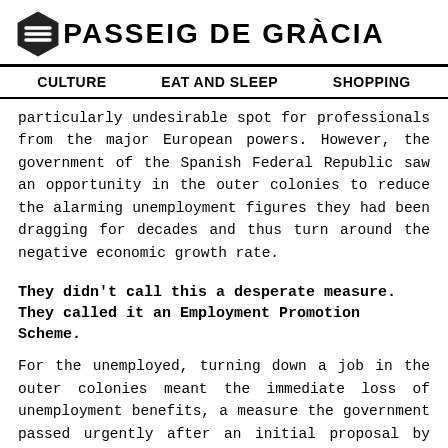PASSEIG DE GRÀCIA
CULTURE | EAT AND SLEEP | SHOPPING
particularly undesirable spot for professionals from the major European powers. However, the government of the Spanish Federal Republic saw an opportunity in the outer colonies to reduce the alarming unemployment figures they had been dragging for decades and thus turn around the negative economic growth rate.
They didn't call this a desperate measure. They called it an Employment Promotion Scheme.
For the unemployed, turning down a job in the outer colonies meant the immediate loss of unemployment benefits, a measure the government passed urgently after an initial proposal by the Spanish Employer's Organisation. The relocatees signed a six-month training contract in the colonies. The training costs were then deducted from their salaries once they were given a